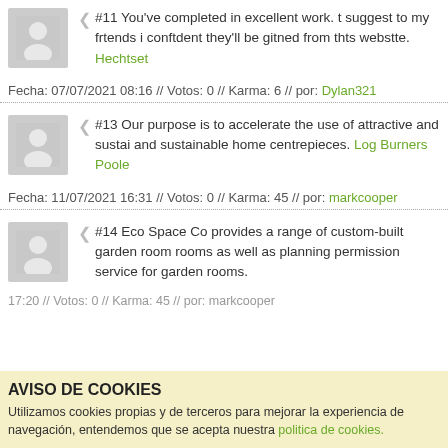#11 You've completed in excellent work. t suggest to my frtends i conftdent they'll be gitned from thts webstte. Hechtset
Fecha: 07/07/2021 08:16 // Votos: 0 // Karma: 6 // por: Dylan321
#13 Our purpose is to accelerate the use of attractive and sustai and sustainable home centrepieces. Log Burners Poole
Fecha: 11/07/2021 16:31 // Votos: 0 // Karma: 45 // por: markcooper
#14 Eco Space Co provides a range of custom-built garden room rooms as well as planning permission service for garden rooms.
17:20 // Votos: 0 // Karma: 45 // por: markcooper
AVISO DE COOKIES
Utilizamos cookies propias y de terceros para mejorar la experiencia de navegación, entendemos que se acepta nuestra politica de cookies.